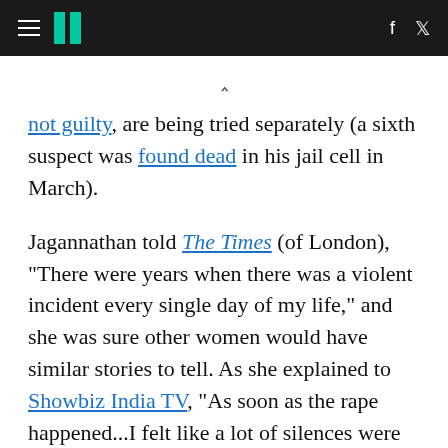HuffPost navigation header with hamburger menu, logo, Facebook and Twitter icons
not guilty, are being tried separately (a sixth suspect was found dead in his jail cell in March).
Jagannathan told The Times (of London), "There were years when there was a violent incident every single day of my life," and she was sure other women would have similar stories to tell. As she explained to Showbiz India TV, "As soon as the rape happened...I felt like a lot of silences were broken. Every day in the newspaper, every day in blogs and Twitters, women were coming out with their own stories of sexual violence, of